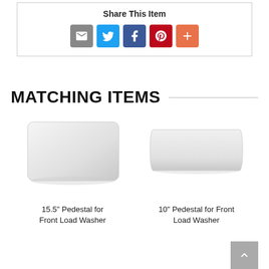Share This Item
[Figure (infographic): Social sharing icons: email, Twitter, Facebook, Pinterest, and more (+)]
MATCHING ITEMS
[Figure (photo): Product image of 15.5-inch Pedestal for Front Load Washer - a white rectangular pedestal appliance]
15.5" Pedestal for Front Load Washer
[Figure (photo): Product image of 10-inch Pedestal for Front Load Washer - a curved white rectangular pedestal]
10" Pedestal for Front Load Washer